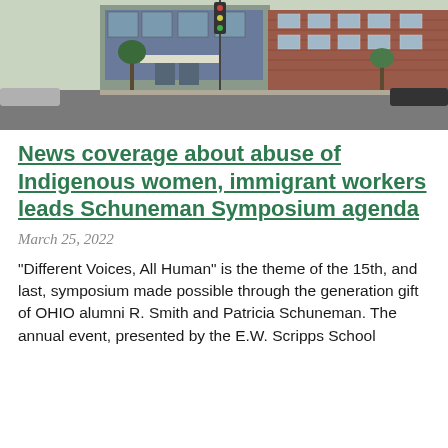[Figure (photo): Exterior photo of a brick university building at a street corner, with traffic lights and trees visible.]
News coverage about abuse of Indigenous women, immigrant workers leads Schuneman Symposium agenda
March 25, 2022
“Different Voices, All Human” is the theme of the 15th, and last, symposium made possible through the generation gift of OHIO alumni R. Smith and Patricia Schuneman. The annual event, presented by the E.W. Scripps School